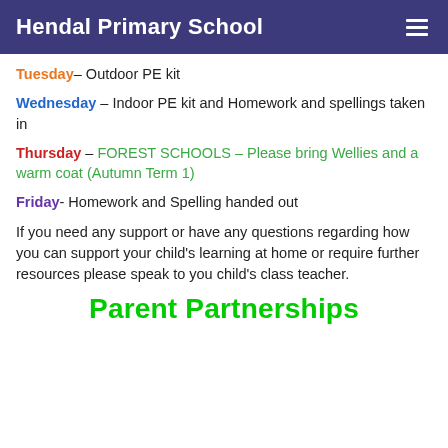Hendal Primary School
Tuesday- Outdoor PE kit
Wednesday – Indoor PE kit and Homework and spellings taken in
Thursday –  FOREST SCHOOLS – Please bring Wellies and a warm coat (Autumn Term 1)
Friday- Homework and Spelling handed out
If you need any support or have any questions regarding how you can support your child's learning at home or require further resources please speak to you child's class teacher.
Parent Partnerships